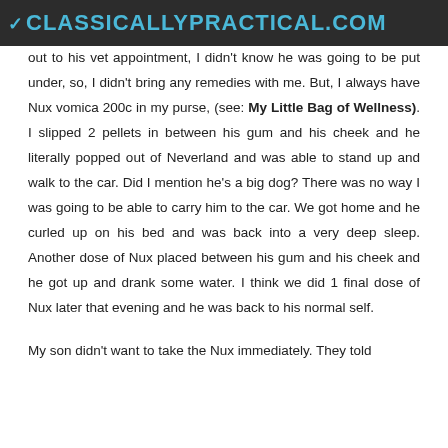CLASSICALLYPRACTICAL.COM
out to his vet appointment, I didn't know he was going to be put under, so, I didn't bring any remedies with me. But, I always have Nux vomica 200c in my purse, (see: My Little Bag of Wellness). I slipped 2 pellets in between his gum and his cheek and he literally popped out of Neverland and was able to stand up and walk to the car. Did I mention he's a big dog? There was no way I was going to be able to carry him to the car. We got home and he curled up on his bed and was back into a very deep sleep. Another dose of Nux placed between his gum and his cheek and he got up and drank some water. I think we did 1 final dose of Nux later that evening and he was back to his normal self.
My son didn't want to take the Nux immediately. They told